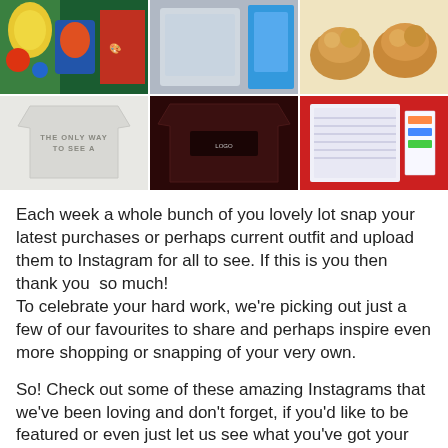[Figure (photo): A 3x2 grid of Instagram photos showing various clothing items and products including a colorful illustrated top, a sweatshirt with blue background, animal-shaped items, a grey sweatshirt saying 'THE ONLY WAY TO SEE A', a dark maroon shirt, and a notebook/planner on a red background.]
Each week a whole bunch of you lovely lot snap your latest purchases or perhaps current outfit and upload them to Instagram for all to see. If this is you then thank you  so much!
To celebrate your hard work, we're picking out just a few of our favourites to share and perhaps inspire even more shopping or snapping of your very own.
So! Check out some of these amazing Instagrams that we've been loving and don't forget, if you'd like to be featured or even just let us see what you've got your hands on, tag us using @truffleshufflecom or use the tag #truffleshufflecom and we'll spot it. Enjoy!